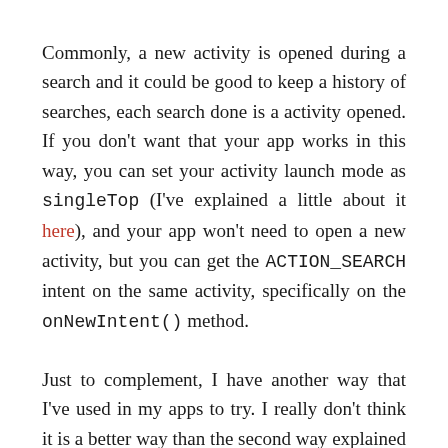Commonly, a new activity is opened during a search and it could be good to keep a history of searches, each search done is a activity opened. If you don't want that your app works in this way, you can set your activity launch mode as singleTop (I've explained a little about it here), and your app won't need to open a new activity, but you can get the ACTION_SEARCH intent on the same activity, specifically on the onNewIntent() method.
Just to complement, I have another way that I've used in my apps to try. I really don't think it is a better way than the second way explained by